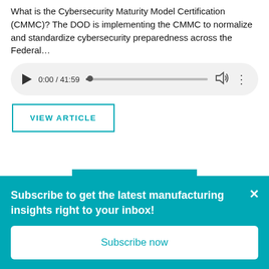What is the Cybersecurity Maturity Model Certification (CMMC)? The DOD is implementing the CMMC to normalize and standardize cybersecurity preparedness across the Federal…
[Figure (other): Audio player widget showing 0:00 / 41:59 with play button, progress bar, volume icon, and more options icon]
VIEW ARTICLE
LOAD MORE
Subscribe to get the latest manufacturing insights right to your inbox!
Subscribe now